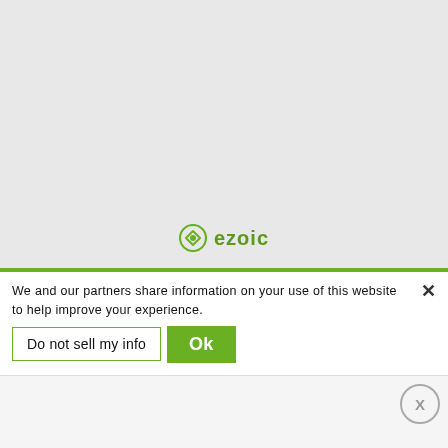[Figure (logo): Ezoic logo with green circular icon and green text 'ezoic']
We and our partners share information on your use of this website to help improve your experience.
Do not sell my info
Ok
[Figure (other): Close button circle with X symbol]